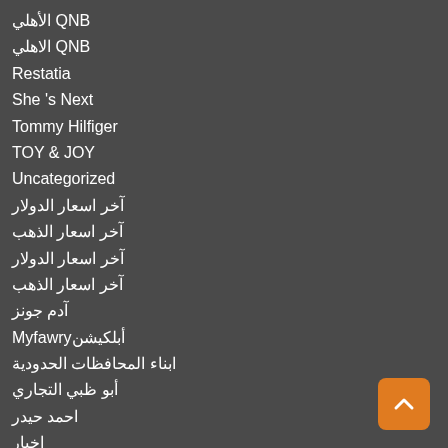الأهلي QNB
الاهلي QNB
Restatia
She 's Next
Tommy Hilfiger
TOY & JOY
Uncategorized
آخر اسعار الدولار
آخر اسعار الذهب
آخر اسعار الدولار
آخر اسعار الذهب
آدم جونز
Myfawryأبلكيشن
ابناء المحافظات الحدودية
أبو ظبي التجاري
احمد حيدر
اخيار
ارباح QNB
اسعار الذهب
اسعار الدولار